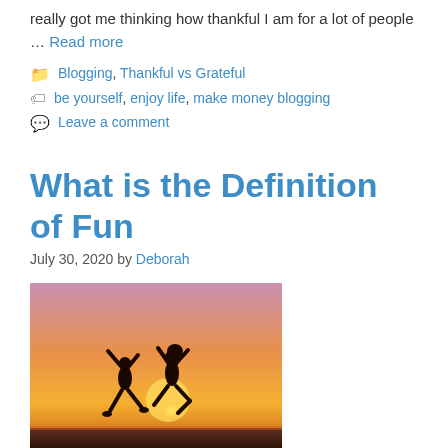really got me thinking how thankful I am for a lot of people … Read more
Categories: Blogging, Thankful vs Grateful
Tags: be yourself, enjoy life, make money blogging
Leave a comment
What is the Definition of Fun
July 30, 2020 by Deborah
[Figure (photo): Two people silhouetted jumping in the air against a sunset sky with sun on the horizon]